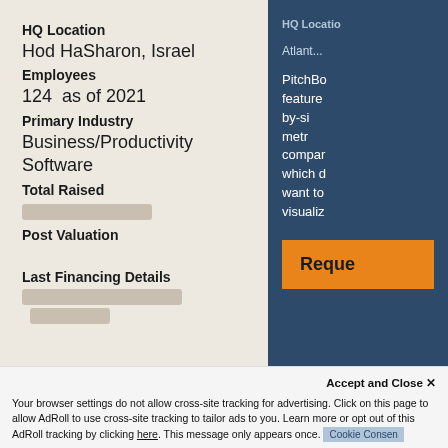HQ Location
Hod HaSharon, Israel
Employees
124  as of 2021
Primary Industry
Business/Productivity Software
Total Raised
[redacted]
Post Valuation
Last Financing Details
[redacted] [redacted]
PitchBook feature side-by-side metrics compare which companies you want to visualize
Reque
Accept and Close ✕
Your browser settings do not allow cross-site tracking for advertising. Click on this page to allow AdRoll to use cross-site tracking to tailor ads to you. Learn more or opt out of this AdRoll tracking by clicking here. This message only appears once.